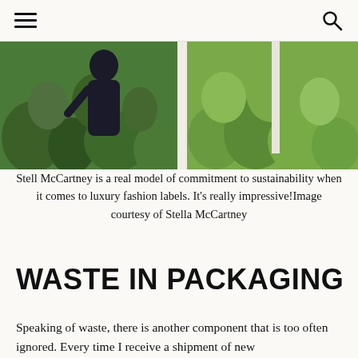≡  🔍
[Figure (photo): A person in a dark dress among dense green topiary and trees, split into two panels with a light-colored divider]
Stell McCartney is a real model of commitment to sustainability when it comes to luxury fashion labels. It's really impressive!Image courtesy of Stella McCartney
WASTE IN PACKAGING
Speaking of waste, there is another component that is too often ignored. Every time I receive a shipment of new textiles, there is an enormous amount that I must deal with